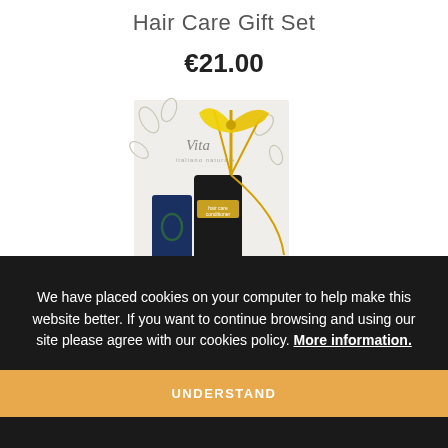Hair Care Gift Set
€21.00
[Figure (photo): A hair care gift set product photo showing bottles/tubes in a white decorative box with a yellow bow ribbon, branded with 'Vita' logo]
We have placed cookies on your computer to help make this website better. If you want to continue browsing and using our site please agree with our cookies policy. More information.
UNDERSTAND